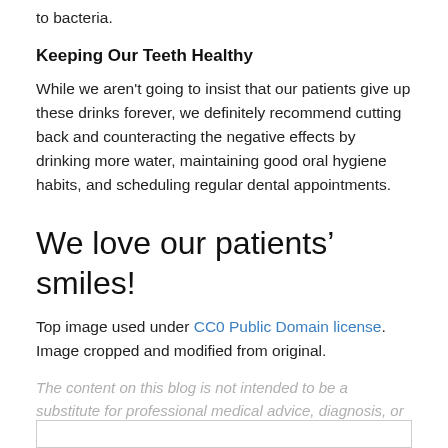to bacteria.
Keeping Our Teeth Healthy
While we aren't going to insist that our patients give up these drinks forever, we definitely recommend cutting back and counteracting the negative effects by drinking more water, maintaining good oral hygiene habits, and scheduling regular dental appointments.
We love our patients' smiles!
Top image used under CC0 Public Domain license. Image cropped and modified from original.
The content on this blog is not intended to be a substitute for professional medical advice, diagnosis, or treatment. Always seek the advice of qualified health providers with questions you may have regarding medical conditions.